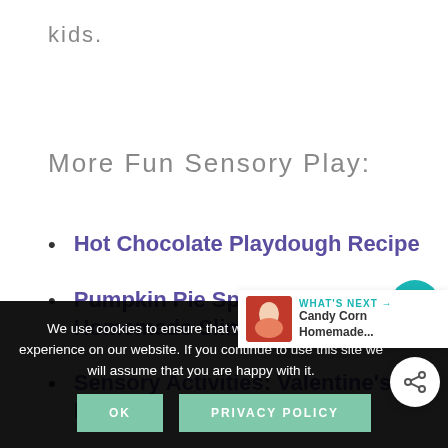kids.
More Fun Sensory Play:
Hot Chocolate Playdough Recipe
Pumpkin Pie Spice Scented Homemade Slime
Sensory Activities: Valentine's Day